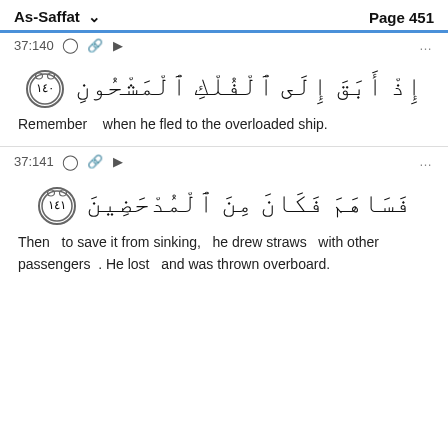As-Saffat  Page 451
37:140
إِذْ أَبَقَ إِلَى الْفُلْكِ الْمَشْحُونِ ﴿١٤٠﴾
Remember   when he fled to the overloaded ship.
37:141
فَسَاهَمَ فَكَانَ مِنَ الْمُدْحَضِينَ ﴿١٤١﴾
Then   to save it from sinking,   he drew straws   with other passengers . He lost   and was thrown overboard.